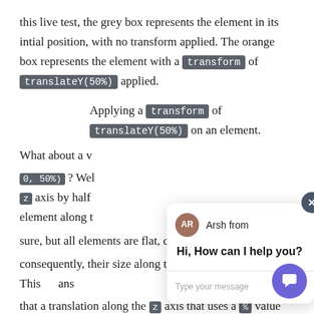this live test, the grey box represents the element in its intial position, with no transform applied. The orange box represents the element with a transform of translateY(50%) applied.
Applying a transform of translateY(50%) on an element.
What about a v 0, 50%) ? Wel z axis by half element along t sure, but all elements are flat, contained in a plane, and consequently, their size along their z axis is always 0. This ans that a translation along the z axis that uses a % value d nothing, because any % of 0 is still 0. If we check the computed